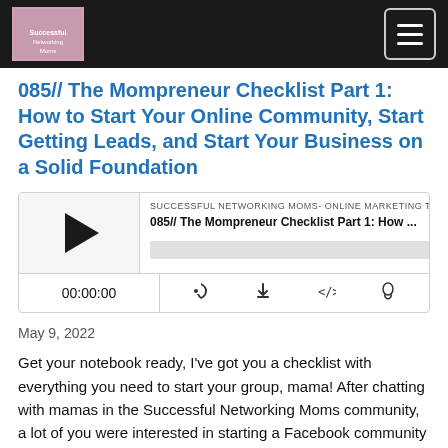Successful Networking Moms
085// The Mompreneur Checklist Part 1: How to Start Your Online Community, Start Getting Leads, and Start Your Business on a Solid Foundation
[Figure (screenshot): Podcast player widget showing episode 085// The Mompreneur Checklist Part 1: How... with play button, progress bar, time display 00:00:00, and media controls (RSS, download, embed, share)]
May 9, 2022
Get your notebook ready, I've got you a checklist with everything you need to start your group, mama!  After chatting with mamas in the Successful Networking Moms community, a lot of you were interested in starting a Facebook community but didn't know where to get started or how to set up an online community the right...